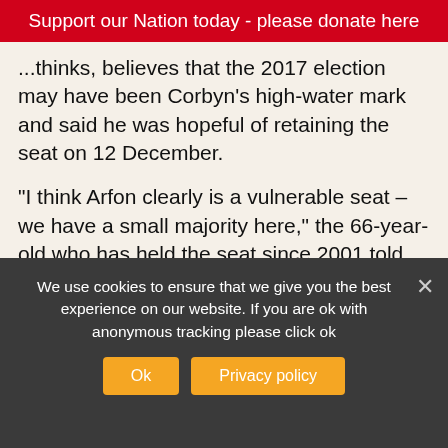Support our Nation today - please donate here
...thinks, believes that the 2017 election may have been Corbyn's high-water mark and said he was hopeful of retaining the seat on 12 December.
“I think Arfon clearly is a vulnerable seat – we have a small majority here,” the 66-year-old who has held the seat since 2001 told Nation.Cymru. “There was a surge to Corbyn at the end of the campaign.
“I don’t see the same circumstances this time, so, obviously people are sick and tired of this Tory Government and I’m getting a very good, positive, response on the doorstep.
We use cookies to ensure that we give you the best experience on our website. If you are ok with anonymous tracking please click ok
Ok
Privacy policy